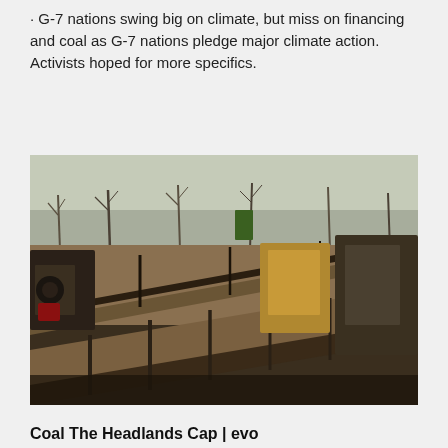· G-7 nations swing big on climate, but miss on financing and coal as G-7 nations pledge major climate action. Activists hoped for more specifics.
[Figure (photo): Photograph of an industrial coal processing or mining site with rusty metal conveyor belt structures, heavy machinery, and bare trees in the background under a pale sky.]
Coal The Headlands Cap | evo